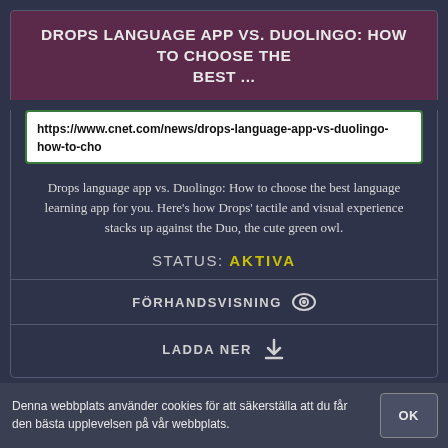DROPS LANGUAGE APP VS. DUOLINGO: HOW TO CHOOSE THE BEST ...
https://www.cnet.com/news/drops-language-app-vs-duolingo-how-to-cho
Drops language app vs. Duolingo: How to choose the best language learning app for you. Here's how Drops' tactile and visual experience stacks up against the Duo, the cute green owl.
STATUS: AKTIVA
FÖRHANDSVISNING
LADDA NER
A HAPPY PANCAKE KUMAMOTO - MENU, PRICES & RESTAURANT REVIEWS
Denna webbplats använder cookies för att säkerställa att du får den bästa upplevelsen på vår webbplats.